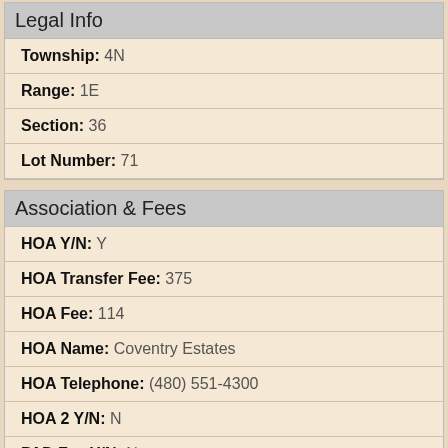Legal Info
Township: 4N
Range: 1E
Section: 36
Lot Number: 71
Association & Fees
HOA Y/N: Y
HOA Transfer Fee: 375
HOA Fee: 114
HOA Name: Coventry Estates
HOA Telephone: (480) 551-4300
HOA 2 Y/N: N
PAD Fee Y/N: N
Land Lease Fee Y/N: N